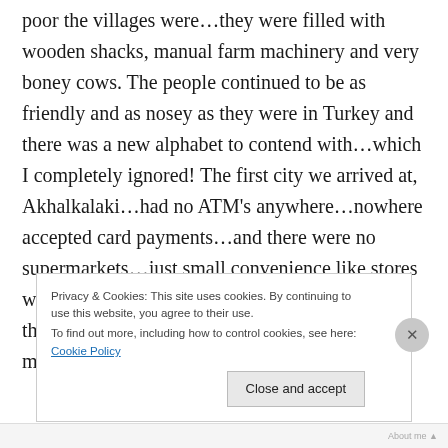poor the villages were…they were filled with wooden shacks, manual farm machinery and very boney cows. The people continued to be as friendly and as nosey as they were in Turkey and there was a new alphabet to contend with…which I completely ignored! The first city we arrived at, Akhalkalaki…had no ATM's anywhere…nowhere accepted card payments…and there were no supermarkets…just small convenience like stores with nothing much in…this is when I realised things are going to start changing…goodbye to many modern western
Privacy & Cookies: This site uses cookies. By continuing to use this website, you agree to their use. To find out more, including how to control cookies, see here: Cookie Policy
Close and accept
About me ▲